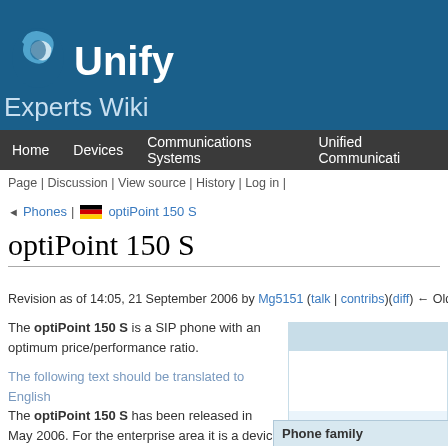[Figure (logo): Unify logo with blue swirl icon and white text 'Unify' on dark blue background]
Experts Wiki
Home | Devices | Communications Systems | Unified Communications
Page | Discussion | View source | History | Log in |
◄ Phones | [German flag] optiPoint 150 S
optiPoint 150 S
Revision as of 14:05, 21 September 2006 by Mg5151 (talk | contribs)(diff) ← Older revisio...
The optiPoint 150 S is a SIP phone with an optimum price/performance ratio.
The following text should be translated to English
The optiPoint 150 S has been released in May 2006. For the enterprise area it is a device for starters but it is also perfect for home users connected to SIP providers (like for example sipgate or others) operating standard SIP platforms like Asterisk or other standard SIP platforms.
The phone supports a set of basic Call features like Call Transfer, Call Forwarding, Message Waiting Indication and others. The optiPoint 150 S offers among other things an inserted phone directory (100 entries), call list administration and is simple to administer via a Webbrowser.
| Phone family |
| --- |